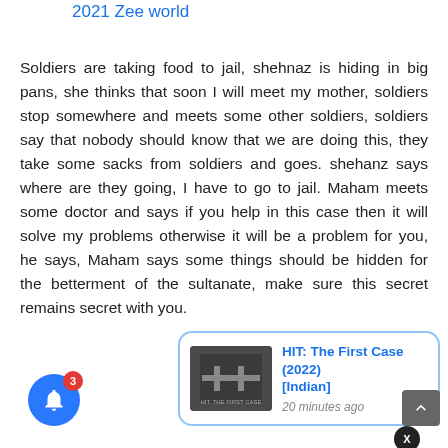2021 Zee world
Soldiers are taking food to jail, shehnaz is hiding in big pans, she thinks that soon I will meet my mother, soldiers stop somewhere and meets some other soldiers, soldiers say that nobody should know that we are doing this, they take some sacks from soldiers and goes. shehanz says where are they going, I have to go to jail. Maham meets some doctor and says if you help in this case then it will solve my problems otherwise it will be a problem for you, he says, Maham says some things should be hidden for the betterment of the sultanate, make sure this secret remains secret with you.
[Figure (screenshot): Notification popup showing HIT: The First Case (2022) [Indian] with movie thumbnail, 20 minutes ago timestamp, close button, and blue bell notification icon with badge showing 3]